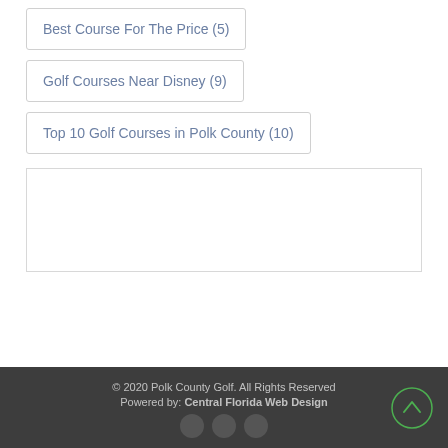Best Course For The Price (5)
Golf Courses Near Disney (9)
Top 10 Golf Courses in Polk County (10)
© 2020 Polk County Golf. All Rights Reserved
Powered by: Central Florida Web Design